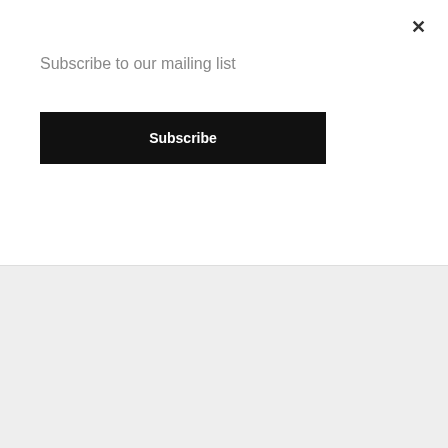×
Subscribe to our mailing list
Subscribe
[Figure (screenshot): Lower portion of a webpage showing a gray background with a white content panel in the center]